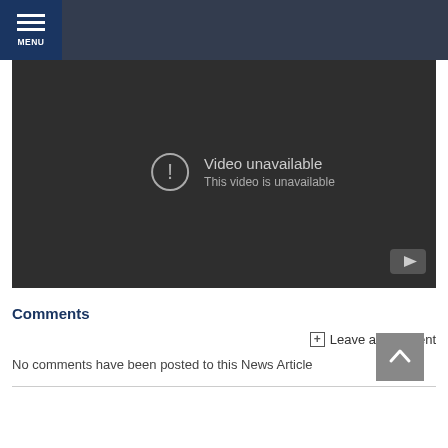[Figure (screenshot): Navigation menu bar with blue MENU button on left and dark gray background on right]
[Figure (screenshot): Embedded video player showing 'Video unavailable' error message with exclamation circle icon and YouTube logo]
Comments
Leave a Comment
No comments have been posted to this News Article